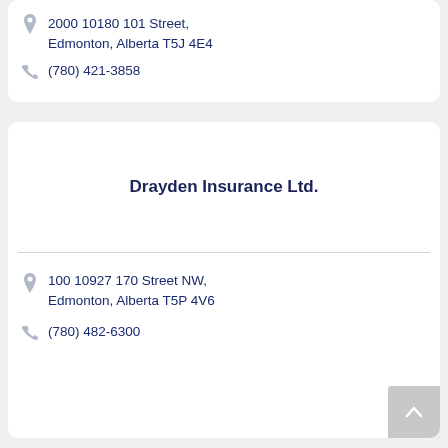2000 10180 101 Street, Edmonton, Alberta T5J 4E4
(780) 421-3858
Drayden Insurance Ltd.
100 10927 170 Street NW, Edmonton, Alberta T5P 4V6
(780) 482-6300